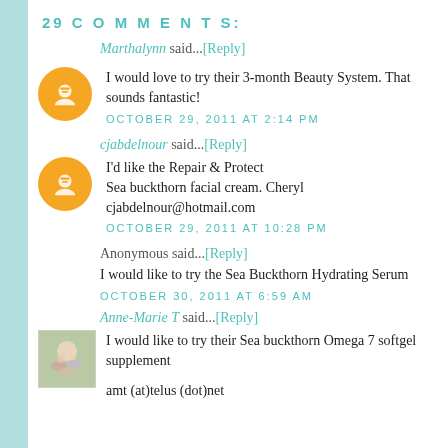29 COMMENTS:
Marthalynn said...[Reply]
I would love to try their 3-month Beauty System. That sounds fantastic!
OCTOBER 29, 2011 AT 2:14 PM
cjabdelnour said...[Reply]
I'd like the Repair & Protect
Sea buckthorn facial cream. Cheryl cjabdelnour@hotmail.com
OCTOBER 29, 2011 AT 10:28 PM
Anonymous said...[Reply]
I would like to try the Sea Buckthorn Hydrating Serum
OCTOBER 30, 2011 AT 6:59 AM
Anne-Marie T said...[Reply]
I would like to try their Sea buckthorn Omega 7 softgel supplement

amt (at)telus (dot)net